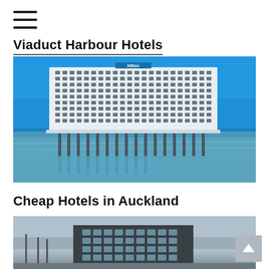≡ (hamburger menu)
Viaduct Harbour Hotels
[Figure (photo): Aerial view of a large white hotel building (Hilton) situated on a wharf over water, with blue sky reflected in the harbour.]
Cheap Hotels in Auckland
[Figure (photo): Partial view of a modern dark-clad hotel building under grey skies.]